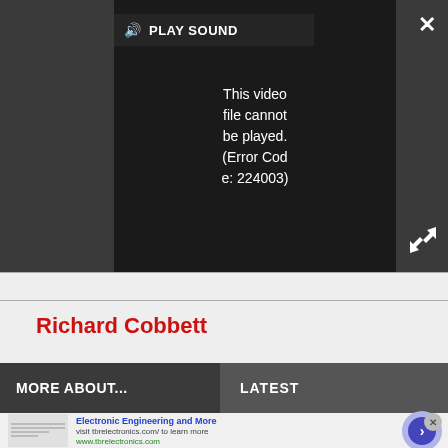[Figure (screenshot): Video player showing error message: 'This video file cannot be played. (Error Code: 224003)' with a Play Sound button in the top-left and close/expand buttons on the right.]
Richard Cobbett
MORE ABOUT...
LATEST
[Figure (other): Advertisement for Electronic Engineering and More – visit tbrelectronics.com/ to learn more. www.tbrelectronics.com]